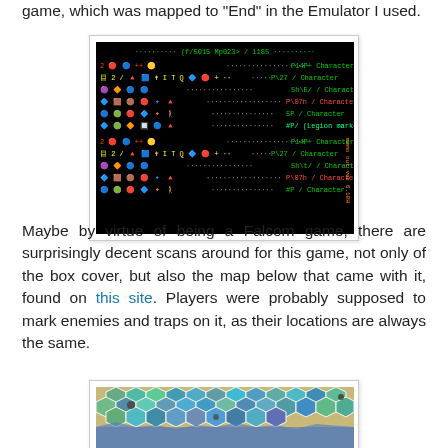game, which was mapped to "End" in the Emulator I used.
[Figure (screenshot): Screenshot of a dark/black-background game screen showing colored icons and text rows listing character types and their costs, with green and multicolor pixel art icons on the left and text labels on the right.]
Maybe by virtue of being a Falcom game, there are surprisingly decent scans around for this game, not only of the box cover, but also the map below that came with it, found on this site. Players were probably supposed to mark enemies and traps on it, as their locations are always the same.
[Figure (photo): Partial view of a hexagonal grid game map with teal/blue/green colored hexagons on a tan background, showing terrain features.]